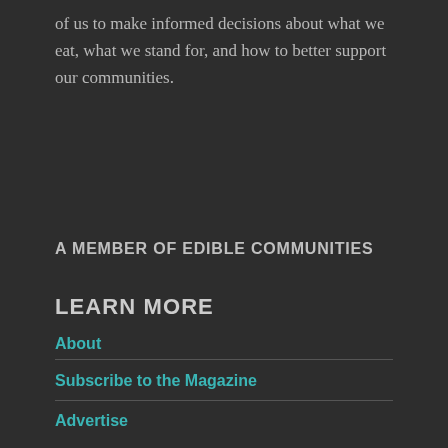of us to make informed decisions about what we eat, what we stand for, and how to better support our communities.
A MEMBER OF EDIBLE COMMUNITIES
LEARN MORE
About
Subscribe to the Magazine
Advertise